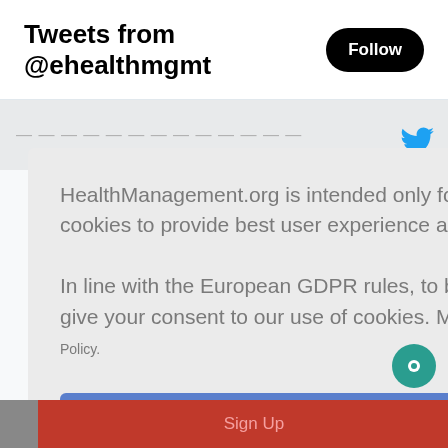Tweets from @ehealthmgmt
[Figure (screenshot): Follow button (black rounded rectangle with white text 'Follow')]
HealthManagement.org is intended only for healthcare professionals and uses cookies to provide best user experience and personalised service.

In line with the European GDPR rules, to be able to browse our website, you need to give your consent to our use of cookies. More information can be found in our Cookie Policy.
I am a healthcare professional and consent to the use of cookies
Sign Up